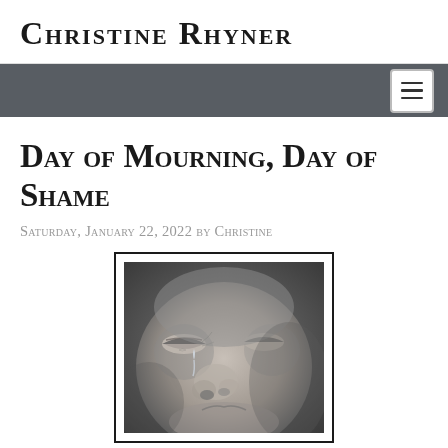Christine Rhyner
Day of Mourning, Day of Shame
Saturday, January 22, 2022 by Christine
[Figure (photo): Black and white close-up photograph of a person's face with eyes closed and a tear running down the cheek, displayed in a white-bordered frame with a thin black border.]